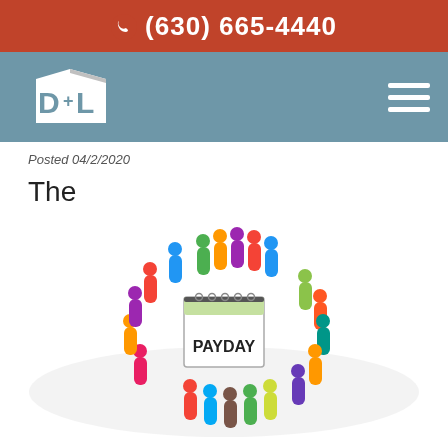(630) 665-4440
[Figure (logo): D+L law firm logo on blue navigation bar with hamburger menu icon]
Posted 04/2/2020
The
[Figure (photo): Colorful 3D human figurines standing in a circle around a PAYDAY desk calendar]
Coronavirus Aid, Relief, and Economic Security (CARES) Act was signed into law on March 27...